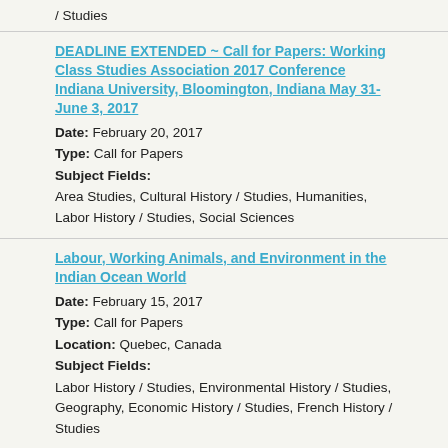/ Studies
DEADLINE EXTENDED ~ Call for Papers: Working Class Studies Association 2017 Conference Indiana University, Bloomington, Indiana May 31- June 3, 2017
Date: February 20, 2017
Type: Call for Papers
Subject Fields:
Area Studies, Cultural History / Studies, Humanities, Labor History / Studies, Social Sciences
Labour, Working Animals, and Environment in the Indian Ocean World
Date: February 15, 2017
Type: Call for Papers
Location: Quebec, Canada
Subject Fields:
Labor History / Studies, Environmental History / Studies, Geography, Economic History / Studies, French History / Studies